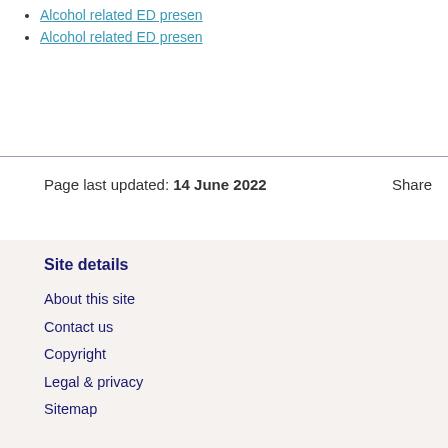Alcohol related ED presen
Alcohol related ED presen
Page last updated: 14 June 2022    Share
Site details
About this site
Contact us
Copyright
Legal & privacy
Sitemap